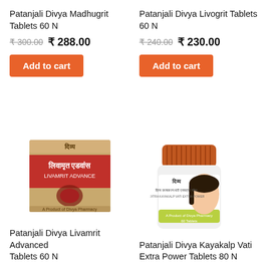Patanjali Divya Madhugrit Tablets 60 N
₹ 300.00 ₹ 288.00
Add to cart
Patanjali Divya Livogrit Tablets 60 N
₹ 240.00 ₹ 230.00
Add to cart
[Figure (photo): Patanjali Divya Livamrit Advanced box packaging with Hindi text and liver illustration]
[Figure (photo): Patanjali Divya Kayakalp Vati Extra Power tablet jar with orange cap and woman's photo on label]
Patanjali Divya Livamrit Advanced Tablets 60 N
Patanjali Divya Kayakalp Vati Extra Power Tablets 80 N